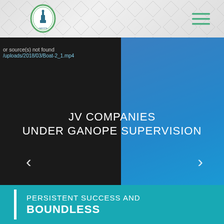[Figure (logo): GANOPE circular emblem logo with tower/building motif, green border oval shape]
[Figure (other): Hamburger menu icon with three horizontal green lines, top right corner]
or source(s) not found
/uploads/2018/03/Boat-2_1.mp4
JV COMPANIES
UNDER GANOPE SUPERVISION
‹
›
PERSISTENT SUCCESS AND
BOUNDLESS